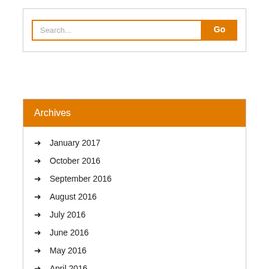[Figure (screenshot): Search bar with orange border and orange Go button]
Archives
January 2017
October 2016
September 2016
August 2016
July 2016
June 2016
May 2016
April 2016
March 2016
February 2016